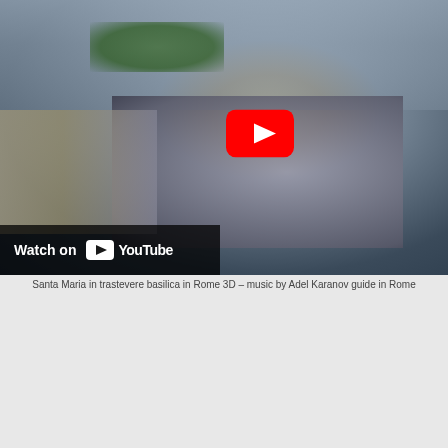[Figure (screenshot): YouTube video thumbnail showing aerial view of St. Peter's Square in Rome with YouTube play button overlay and 'Watch on YouTube' bar at bottom left]
Santa Maria in trastevere basilica in Rome 3D – music by Adel Karanov guide in Rome
[Figure (screenshot): YouTube video thumbnail showing channel logo and title 'Santa Maria in trastevere basilica in Rome 3D' with mosaic art background]